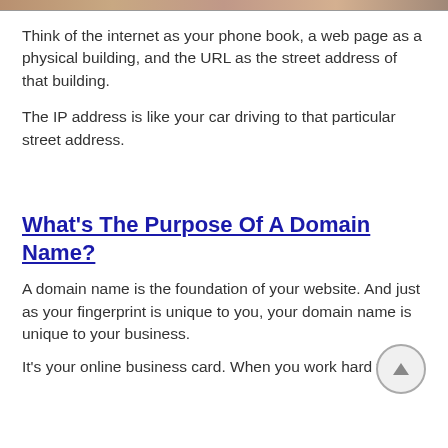[Figure (photo): Partial image at top of page, appears to be a colorful photograph cropped to a thin strip]
Think of the internet as your phone book, a web page as a physical building, and the URL as the street address of that building.
The IP address is like your car driving to that particular street address.
What's The Purpose Of A Domain Name?
A domain name is the foundation of your website. And just as your fingerprint is unique to you, your domain name is unique to your business.
It's your online business card. When you work hard to